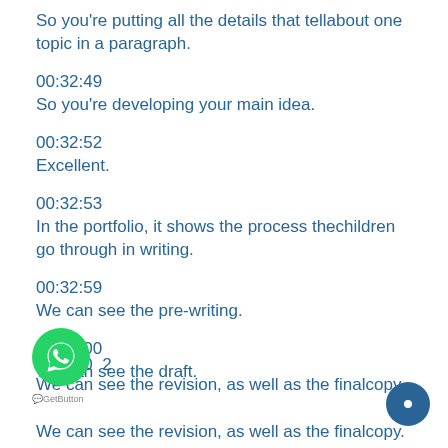So you're putting all the details that tellabout one topic in a paragraph.
00:32:49
So you're developing your main idea.
00:32:52
Excellent.
00:32:53
In the portfolio, it shows the process thechildren go through in writing.
00:32:59
We can see the pre-writing.
00:33:00
We can see the draft.
00:33:02
We can see the revision, as well as the finalcopy.
00:33:05